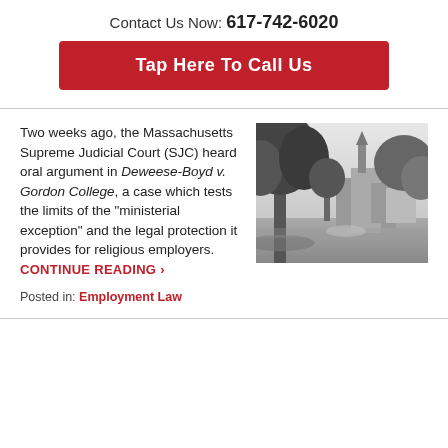Contact Us Now: 617-742-6020
Tap Here To Call Us
Two weeks ago, the Massachusetts Supreme Judicial Court (SJC) heard oral argument in Deweese-Boyd v. Gordon College, a case which tests the limits of the “ministerial exception” and the legal protection it provides for religious employers. CONTINUE READING ›
[Figure (photo): Black and white photograph of a college campus with large trees and a church steeple in the background]
Posted in: Employment Law